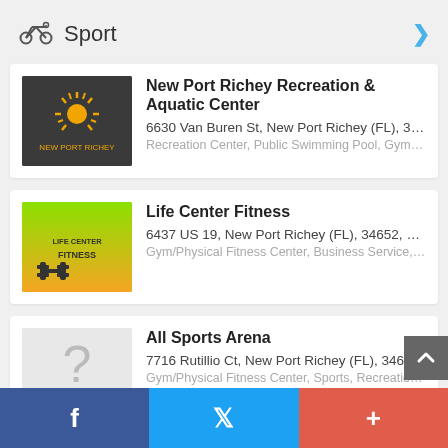Sport
New Port Richey Recreation & Aquatic Center
6630 Van Buren St, New Port Richey (FL), 3465...
Recreation Center, Public Swimming Pool, Gym/Physical...
Life Center Fitness
6437 US 19, New Port Richey (FL), 34652, Unite...
Gym/Physical Fitness Center, Business Service, Sports &...
All Sports Arena
7716 Rutillio Ct, New Port Richey (FL), 34653, U...
Gym/Physical Fitness Center, Sports, Recreation & Fitne...
Trinity Yoga Studio